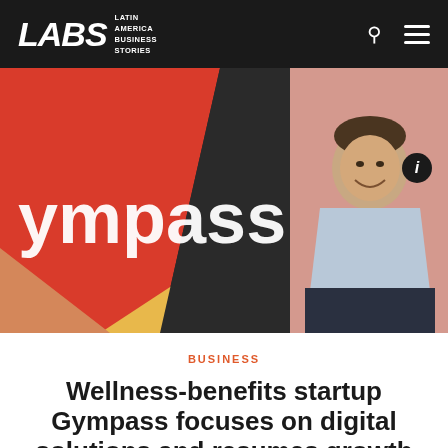LABS — Latin America Business Stories
[Figure (photo): Man smiling and sitting cross-legged in front of a colorful Gympass logo mural with red, dark, yellow, and peach geometric shapes on the wall]
BUSINESS
Wellness-benefits startup Gympass focuses on digital solutions and resumes growth